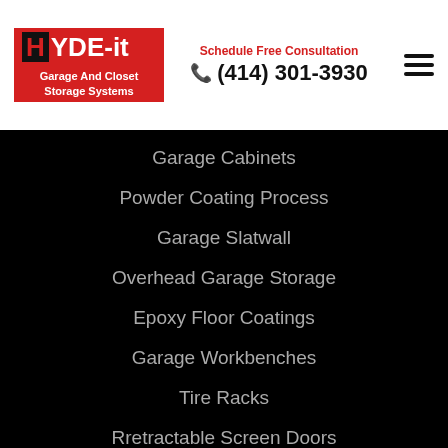[Figure (logo): HYDE-it Garage And Closet Storage Systems logo with red background]
Schedule Free Consultation
(414) 301-3930
Garage Cabinets
Powder Coating Process
Garage Slatwall
Overhead Garage Storage
Epoxy Floor Coatings
Garage Workbenches
Tire Racks
Rretractable Screen Doors
Home Organization
Custom Closets